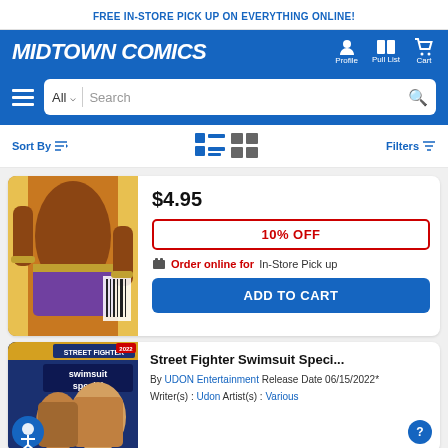FREE IN-STORE PICK UP ON EVERYTHING ONLINE!
MIDTOWN COMICS
Profile  Pull List  Cart
All  Search
Sort By  Filters
[Figure (photo): Comic book cover showing a figure in a purple outfit]
$4.95
10% OFF
Order online for In-Store Pick up
ADD TO CART
[Figure (photo): Street Fighter Swimsuit Special 2022 comic book cover]
Street Fighter Swimsuit Speci...
By UDON Entertainment Release Date 06/15/2022* Writer(s) : Udon Artist(s) : Various